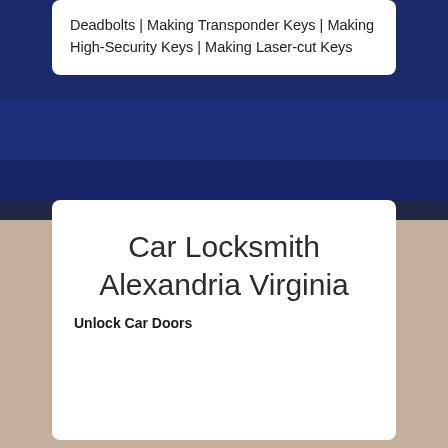Deadbolts | Making Transponder Keys | Making High-Security Keys | Making Laser-cut Keys
[Figure (illustration): Decorative layered chevron/arrow shape with dark blue, dark brown, and tan/beige layers pointing downward, serving as a visual divider between the top and bottom sections of the page.]
Car Locksmith Alexandria Virginia
Unlock Car Doors